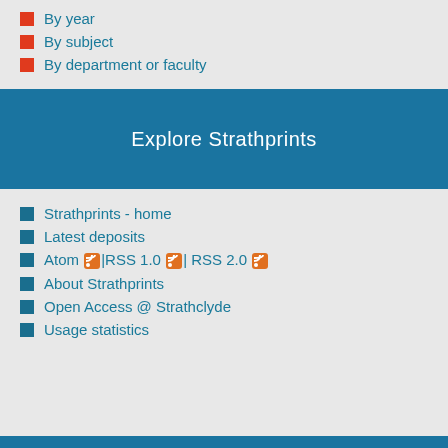By year
By subject
By department or faculty
Explore Strathprints
Strathprints - home
Latest deposits
Atom | RSS 1.0 | RSS 2.0
About Strathprints
Open Access @ Strathclyde
Usage statistics